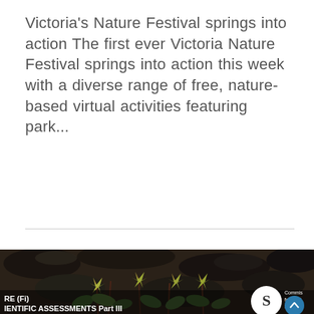Victoria's Nature Festival springs into action The first ever Victoria Nature Festival springs into action this week with a diverse range of free, nature-based virtual activities featuring park...
[Figure (photo): Close-up photo of small green and yellow-red star-shaped plants growing among dark rocks and soil. Overlaid text at bottom shows 'RE (Fi)' and 'IENTIFIC ASSESSMENTS Part III' with a logo and 'Commission for Environmental Sustainability' text visible at bottom right.]